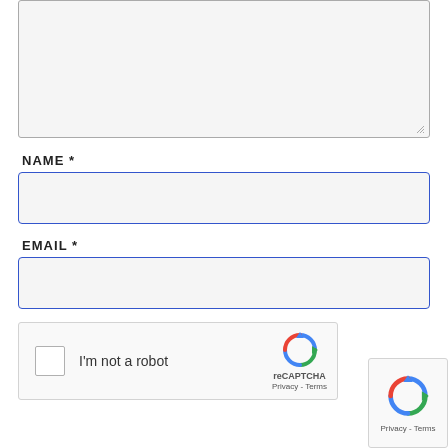[Figure (screenshot): A large textarea input box with a light gray background and gray border, with a resize handle at the bottom right corner.]
NAME *
[Figure (screenshot): A text input field for NAME with light gray background and blue border.]
EMAIL *
[Figure (screenshot): A text input field for EMAIL with light gray background and blue border.]
[Figure (screenshot): reCAPTCHA widget with checkbox, 'I'm not a robot' label, reCAPTCHA logo, Privacy and Terms links.]
[Figure (screenshot): Partial reCAPTCHA corner widget showing logo and Privacy - Terms text.]